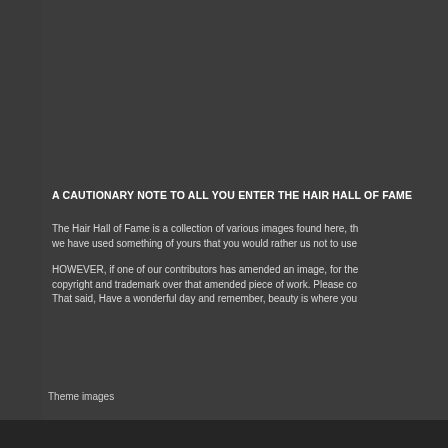A CAUTIONARY NOTE TO ALL YOU ENTER THE HAIR HALL OF FAME
The Hair Hall of Fame is a collection of various images found here, th... we have used something of yours that you would rather us not to use...
HOWEVER, if one of our contributors has amended an image, for the... copyright and trademark over that amended piece of work. Please co... That said, Have a wonderful day and remember, beauty is where you...
Theme images